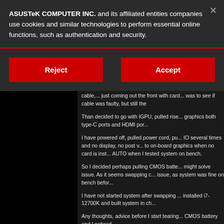ASUSTeK COMPUTER INC. and its affiliated entities companies use cookies and similar technologies to perform essential online functions, such as authentication and security.
[Figure (other): Reject button (red) and Accept button (red) side by side in a cookie consent dialog]
cable,... just coming out the front with card... was to see if cable was faulty, but still the
Than decided to go with IGPU, pulled rise... graphics both type-C ports and HDMI por...
I have powered off, pulled power cord, pu... IO several times and no display, no post v... to on-board graphics when no card is inst... AUTO when I tested system on bench.
So I decided perhaps pulling CMOS batte... might solve issue. As it seems swapping c... issue, as system was fine on bench befor...
I have not started system after swapping ... installed i7-12700K and built system in ch...
Any thoughts, advice before I start tearing... CMOS battery and I noticed...